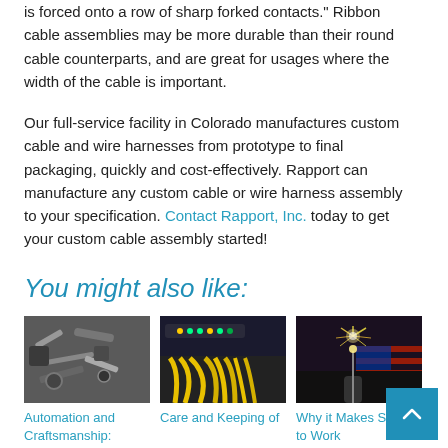is forced onto a row of sharp forked contacts." Ribbon cable assemblies may be more durable than their round cable counterparts, and are great for usages where the width of the cable is important.
Our full-service facility in Colorado manufactures custom cable and wire harnesses from prototype to final packaging, quickly and cost-effectively. Rapport can manufacture any custom cable or wire harness assembly to your specification. Contact Rapport, Inc. today to get your custom cable assembly started!
You might also like:
[Figure (photo): Photo of automation tools and crimping equipment on a workbench]
[Figure (photo): Photo of yellow fiber optic cables bundled near networking equipment with green lights]
[Figure (photo): Photo of sparkler with American flag in background]
Automation and Craftsmanship:
Care and Keeping of
Why it Makes Sense to Work